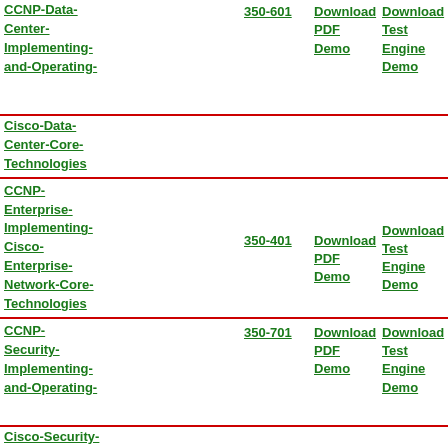CCNP-Data-Center-Implementing-and-Operating- 350-601 Cisco-Data-Center-Core-Technologies | Download PDF Demo | Download Test Engine Demo
CCNP-Enterprise-Implementing-Cisco-Enterprise-Network-Core-Technologies 350-401 | Download PDF Demo | Download Test Engine Demo
CCNP-Security-Implementing-and-Operating- 350-701 Cisco-Security-Core-Technologies | Download PDF Demo | Download Test Engine Demo
CCNP-Service-Provider-Implementing-and-Operating- 350-501 Cisco-Service-Provider- | Download PDF Demo | Download Test Engine Demo